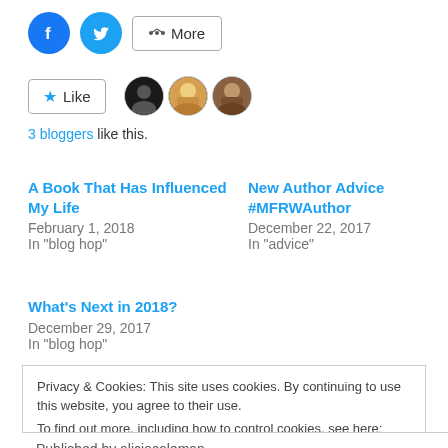[Figure (other): Social share buttons: Facebook (blue circle), Twitter (teal circle), More (share icon with text)]
[Figure (other): Like button with star icon, followed by three blogger avatars (dark circle, blonde photo, brunette photo)]
3 bloggers like this.
A Book That Has Influenced My Life
February 1, 2018
In "blog hop"
New Author Advice #MFRWAuthor
December 22, 2017
In "advice"
What's Next in 2018?
December 29, 2017
In "blog hop"
Privacy & Cookies: This site uses cookies. By continuing to use this website, you agree to their use.
To find out more, including how to control cookies, see here: Cookie Policy
Close and accept
Published by aliciacoleman